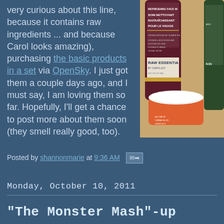very curious about this line, because it contains raw ingredients ... and because Carol looks amazing), purchasing the basic products in a set via OpenSky. I just got them a couple days ago, and I must say, I am loving them so far. Hopefully, I'll get a chance to post more about them soon (they smell really good, too).
[Figure (photo): Photo of Raw Essentials by Carol Alt skincare products including face wash and cream jar on a wooden surface]
Posted by shannonmarie at 9:36 AM [email icon]
Monday, October 10, 2011
"The Monster Mash"-up